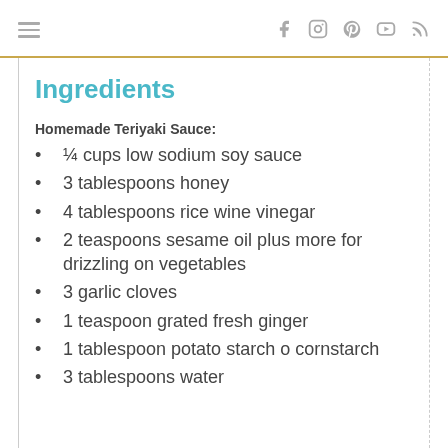navigation and social icons header
Ingredients
Homemade Teriyaki Sauce:
¼ cups low sodium soy sauce
3 tablespoons honey
4 tablespoons rice wine vinegar
2 teaspoons sesame oil plus more for drizzling on vegetables
3 garlic cloves
1 teaspoon grated fresh ginger
1 tablespoon potato starch o cornstarch
3 tablespoons water